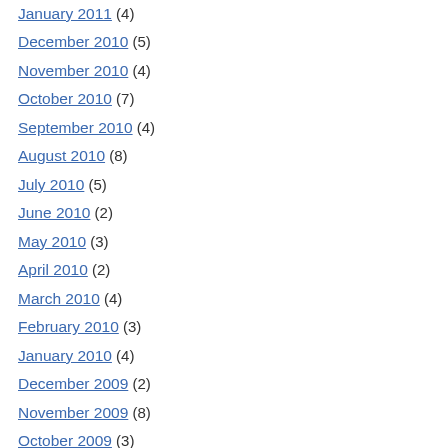January 2011 (4)
December 2010 (5)
November 2010 (4)
October 2010 (7)
September 2010 (4)
August 2010 (8)
July 2010 (5)
June 2010 (2)
May 2010 (3)
April 2010 (2)
March 2010 (4)
February 2010 (3)
January 2010 (4)
December 2009 (2)
November 2009 (8)
October 2009 (3)
September 2009 (2)
August 2009 (2)
July 2009 (3)